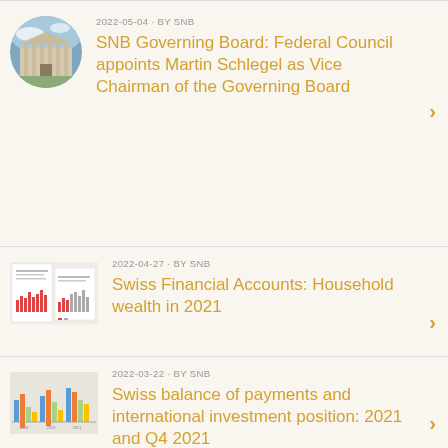2022-05-04 · BY SNB
SNB Governing Board: Federal Council appoints Martin Schlegel as Vice Chairman of the Governing Board
2022-04-27 · BY SNB
Swiss Financial Accounts: Household wealth in 2021
2022-03-22 · BY SNB
Swiss balance of payments and international investment position: 2021 and Q4 2021